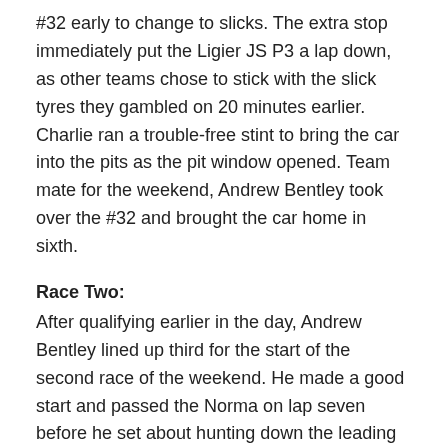#32 early to change to slicks. The extra stop immediately put the Ligier JS P3 a lap down, as other teams chose to stick with the slick tyres they gambled on 20 minutes earlier. Charlie ran a trouble-free stint to bring the car into the pits as the pit window opened. Team mate for the weekend, Andrew Bentley took over the #32 and brought the car home in sixth.
Race Two:
After qualifying earlier in the day, Andrew Bentley lined up third for the start of the second race of the weekend. He made a good start and passed the Norma on lap seven before he set about hunting down the leading Ligier of Johnny Mowlem. On lap 23, Andrew passed Mowlem to take the lead. As the pit window opened, Andrew stayed out and built up a lead before pitting and handing the car over to team mate Charlie Hollings. Charlie held the lead